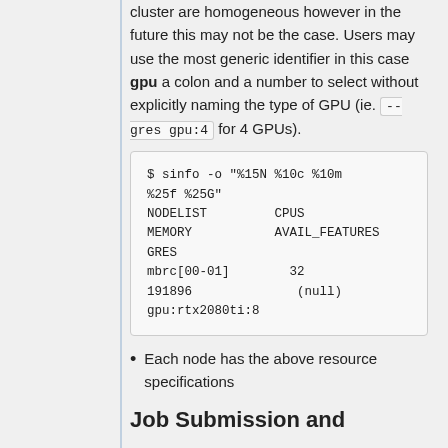cluster are homogeneous however in the future this may not be the case. Users may use the most generic identifier in this case gpu a colon and a number to select without explicitly naming the type of GPU (ie. --gres gpu:4 for 4 GPUs).
$ sinfo -o "%15N %10c %10m %25f %25G"
NODELIST         CPUS   MEMORY           AVAIL_FEATURES GRES
mbrc[00-01]        32   191896              (null) gpu:rtx2080ti:8
Each node has the above resource specifications
Job Submission and